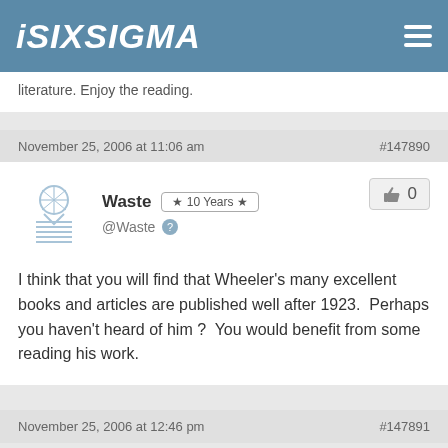ISIXSIGMA
literature. Enjoy the reading.
November 25, 2006 at 11:06 am   #147890
Waste  ★ 10 Years ★  @Waste  👍 0
I think that you will find that Wheeler's many excellent books and articles are published well after 1923.  Perhaps you haven't heard of him ?  You would benefit from some reading his work.
November 25, 2006 at 12:46 pm   #147891